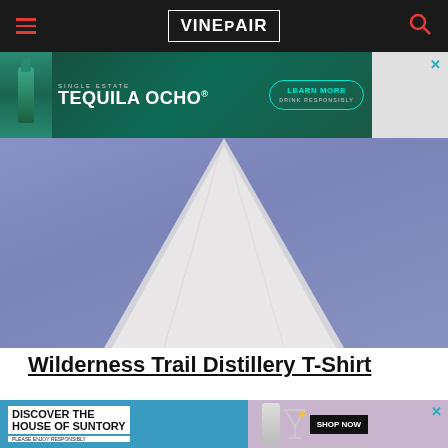VinePair
[Figure (photo): Advertisement banner for Tequila Ocho Single Estate with a bottle on teal/green background, Learn More button, Drink Responsibly text]
[Figure (photo): Close-up photo of a white t-shirt folded/laid out on a periwinkle blue background]
Wilderness Trail Distillery T-Shirt
[Figure (photo): Blue fabric/surface on left and pink/lavender fabric on right — bottom section of page]
[Figure (photo): Advertisement for Discover the House of Suntory with bottle and martini glass, Shop Now button]